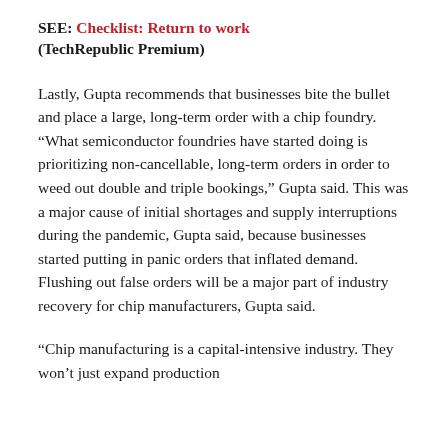SEE: Checklist: Return to work (TechRepublic Premium)
Lastly, Gupta recommends that businesses bite the bullet and place a large, long-term order with a chip foundry. “What semiconductor foundries have started doing is prioritizing non-cancellable, long-term orders in order to weed out double and triple bookings,” Gupta said. This was a major cause of initial shortages and supply interruptions during the pandemic, Gupta said, because businesses started putting in panic orders that inflated demand. Flushing out false orders will be a major part of industry recovery for chip manufacturers, Gupta said.
“Chip manufacturing is a capital-intensive industry. They won’t just expand production